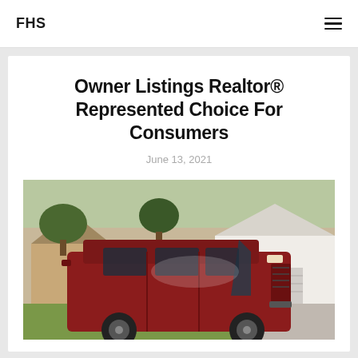FHS
Owner Listings Realtor® Represented Choice For Consumers
June 13, 2021
[Figure (photo): A red minivan (Chevrolet Astro) parked in a residential driveway in front of suburban homes with green lawn and trees in the background.]